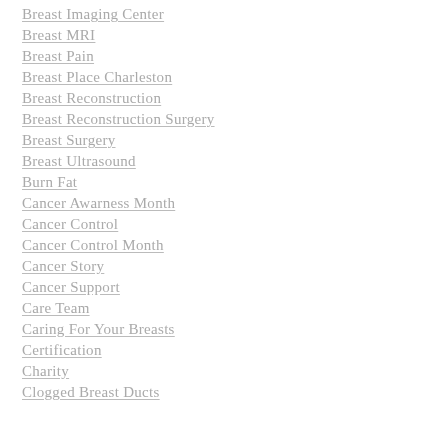Breast Imaging Center
Breast MRI
Breast Pain
Breast Place Charleston
Breast Reconstruction
Breast Reconstruction Surgery
Breast Surgery
Breast Ultrasound
Burn Fat
Cancer Awarness Month
Cancer Control
Cancer Control Month
Cancer Story
Cancer Support
Care Team
Caring For Your Breasts
Certification
Charity
Clogged Breast Ducts